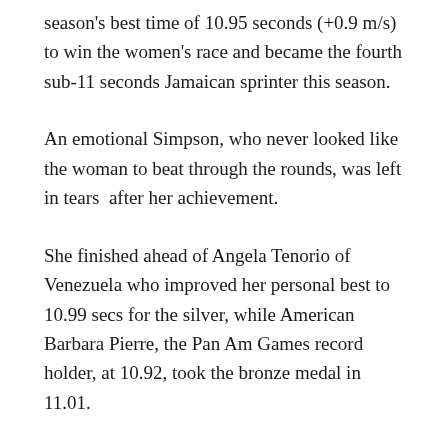season's best time of 10.95 seconds (+0.9 m/s) to win the women's race and became the fourth sub-11 seconds Jamaican sprinter this season.
An emotional Simpson, who never looked like the woman to beat through the rounds, was left in tears after her achievement.
She finished ahead of Angela Tenorio of Venezuela who improved her personal best to 10.99 secs for the silver, while American Barbara Pierre, the Pan Am Games record holder, at 10.92, took the bronze medal in 11.01.